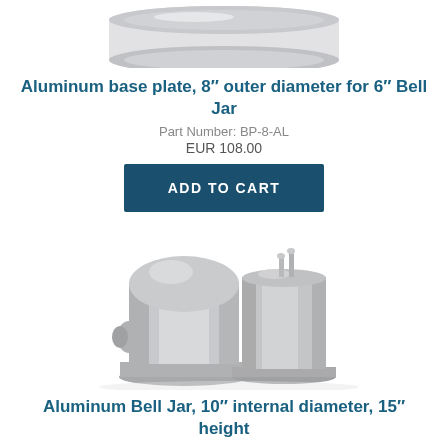[Figure (photo): Aluminum base plate photographed from above, circular silver disc, partially cropped at top of page]
Aluminum base plate, 8″ outer diameter for 6″ Bell Jar
Part Number: BP-8-AL
EUR 108.00
ADD TO CART
[Figure (photo): Two aluminum bell jar vacuum chambers, cylindrical metallic silver with flanged bases, one with port/fitting]
Aluminum Bell Jar, 10″ internal diameter, 15″ height